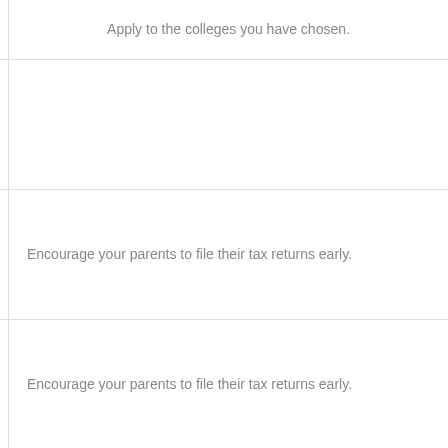Apply to the colleges you have chosen.
Encourage your parents to file their tax returns early.
Encourage your parents to file their tax returns early.